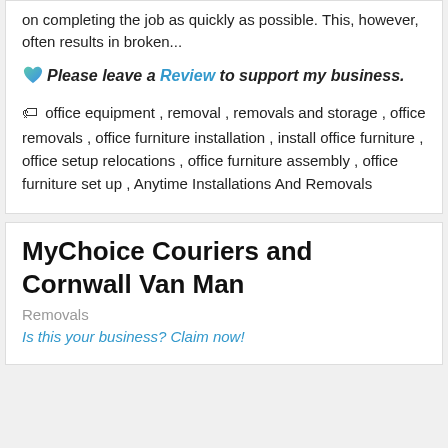on completing the job as quickly as possible. This, however, often results in broken...
💙 Please leave a Review to support my business.
🏷 office equipment , removal , removals and storage , office removals , office furniture installation , install office furniture , office setup relocations , office furniture assembly , office furniture set up , Anytime Installations And Removals
MyChoice Couriers and Cornwall Van Man
Removals
Is this your business? Claim now!